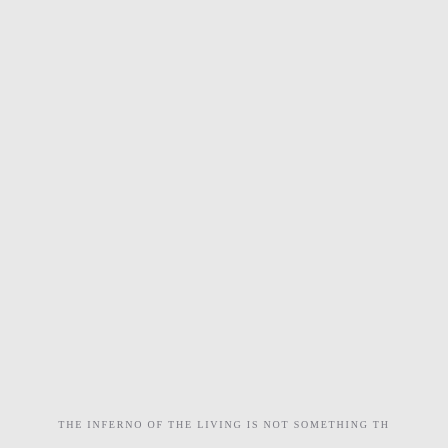THE INFERNO OF THE LIVING IS NOT SOMETHING TH